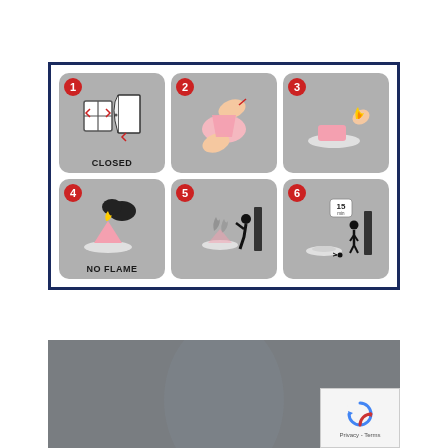[Figure (infographic): 6-step illustrated instructions for using a smoke/incense product in a closed room. Step 1: Close windows and doors (CLOSED label). Step 2: Hands tearing/opening the product. Step 3: Placing product on a plate and lighting it with a flame. Step 4: Product burning with no open flame (NO FLAME label). Step 5: Person opening a door to let out smoke. Step 6: Person standing in room after 15 minutes, product fully burned on plate.]
[Figure (photo): Dark grayish photo, partially visible, with a reCAPTCHA widget overlay in the bottom-right corner showing the reCAPTCHA logo and 'Privacy - Terms' text.]